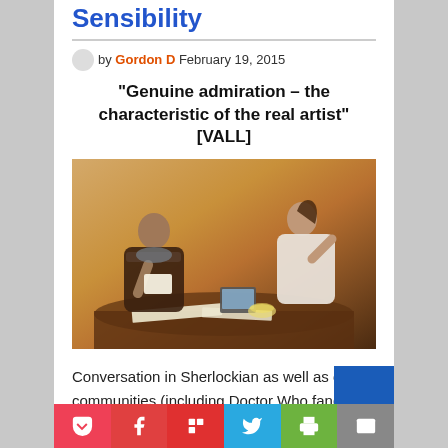Sensibility
by Gordon D February 19, 2015
"Genuine admiration – the characteristic of the real artist" [VALL]
[Figure (photo): Two women sitting at a table with papers and a laptop, one holding papers and one gesturing, warm orange background]
Conversation in Sherlockian as well as other communities (including Doctor Who fandom and the New Pulp movement) often leads